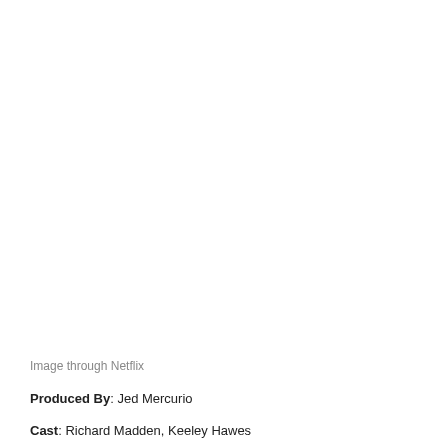Image through Netflix
Produced By: Jed Mercurio
Cast: Richard Madden, Keeley Hawes